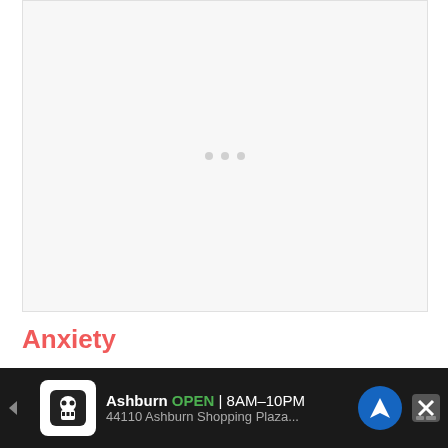[Figure (other): Large empty placeholder image area with light gray background and three faint loading dots in the center]
Anxiety
I've already touched on this briefly above: This m... ...lse time
[Figure (other): Advertisement banner: Ashburn OPEN 8AM-10PM, 44110 Ashburn Shopping Plaza..., with store icon, navigation arrow icon, and close button]